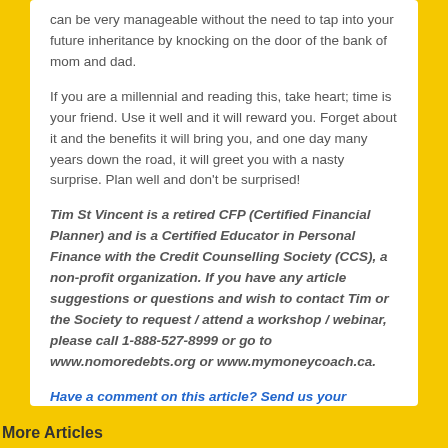can be very manageable without the need to tap into your future inheritance by knocking on the door of the bank of mom and dad.
If you are a millennial and reading this, take heart; time is your friend. Use it well and it will reward you. Forget about it and the benefits it will bring you, and one day many years down the road, it will greet you with a nasty surprise. Plan well and don't be surprised!
Tim St Vincent is a retired CFP (Certified Financial Planner) and is a Certified Educator in Personal Finance with the Credit Counselling Society (CCS), a non-profit organization. If you have any article suggestions or questions and wish to contact Tim or the Society to request / attend a workshop / webinar, please call 1-888-527-8999 or go to www.nomoredebts.org or www.mymoneycoach.ca.
Have a comment on this article? Send us your feedback
More Articles